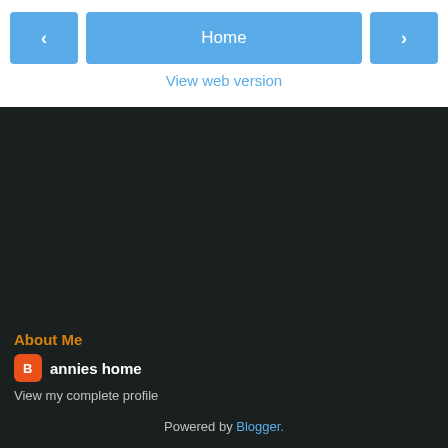< Home >
View web version
[Figure (other): Large dark/black empty area filling most of the page body]
About Me
annies home
View my complete profile
Powered by Blogger.